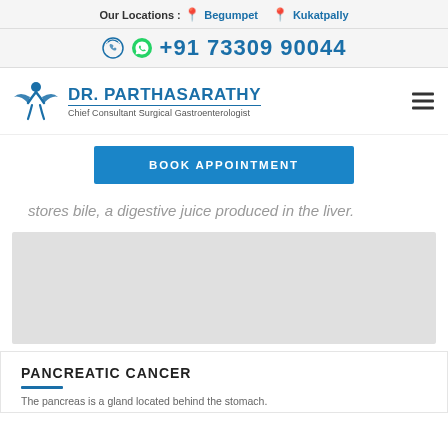Our Locations : Begumpet  Kukatpally
+91 73309 90044
[Figure (logo): Dr. Parthasarathy logo with stylized figure, text DR. PARTHASARATHY, Chief Consultant Surgical Gastroenterologist]
BOOK APPOINTMENT
stores bile, a digestive juice produced in the liver.
[Figure (photo): Medical image placeholder (grey box)]
PANCREATIC CANCER
The pancreas is a gland located behind the stomach.